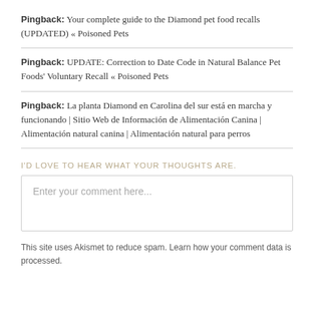Pingback: Your complete guide to the Diamond pet food recalls (UPDATED) « Poisoned Pets
Pingback: UPDATE: Correction to Date Code in Natural Balance Pet Foods' Voluntary Recall « Poisoned Pets
Pingback: La planta Diamond en Carolina del sur está en marcha y funcionando | Sitio Web de Información de Alimentación Canina | Alimentación natural canina | Alimentación natural para perros
I'D LOVE TO HEAR WHAT YOUR THOUGHTS ARE.
Enter your comment here...
This site uses Akismet to reduce spam. Learn how your comment data is processed.